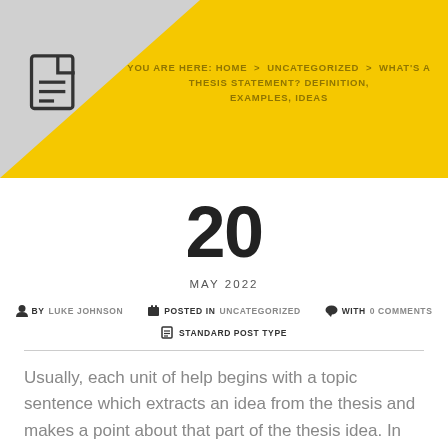YOU ARE HERE: HOME > UNCATEGORIZED > WHAT'S A THESIS STATEMENT? DEFINITION, EXAMPLES, IDEAS
20
MAY 2022
BY LUKE JOHNSON   POSTED IN UNCATEGORIZED   WITH 0 COMMENTS   STANDARD POST TYPE
Usually, each unit of help begins with a topic sentence which extracts an idea from the thesis and makes a point about that part of the thesis idea. In order to